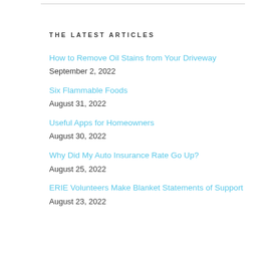THE LATEST ARTICLES
How to Remove Oil Stains from Your Driveway
September 2, 2022
Six Flammable Foods
August 31, 2022
Useful Apps for Homeowners
August 30, 2022
Why Did My Auto Insurance Rate Go Up?
August 25, 2022
ERIE Volunteers Make Blanket Statements of Support
August 23, 2022